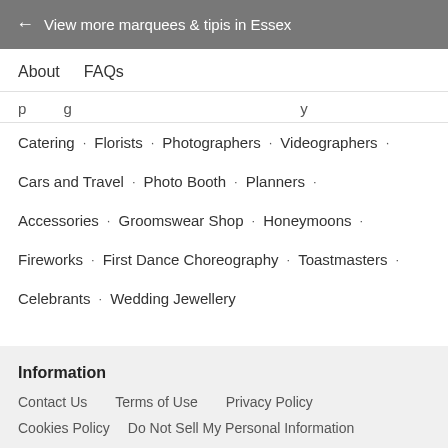← View more marquees & tipis in Essex
About   FAQs
Catering · Florists · Photographers · Videographers ·
Cars and Travel · Photo Booth · Planners ·
Accessories · Groomswear Shop · Honeymoons ·
Fireworks · First Dance Choreography · Toastmasters ·
Celebrants · Wedding Jewellery
Information
Contact Us   Terms of Use   Privacy Policy
Cookies Policy   Do Not Sell My Personal Information